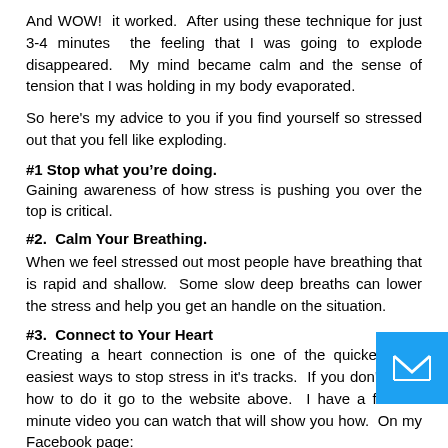And WOW!  it worked.  After using these technique for just 3-4 minutes  the feeling that I was going to explode disappeared.  My mind became calm and the sense of tension that I was holding in my body evaporated.
So here's my advice to you if you find yourself so stressed out that you fell like exploding.
#1 Stop what you’re doing. Gaining awareness of how stress is pushing you over the top is critical.
#2.  Calm Your Breathing.
When we feel stressed out most people have breathing that is rapid and shallow.  Some slow deep breaths can lower the stress and help you get an handle on the situation.
#3.  Connect to Your Heart
Creating a heart connection is one of the quickest and easiest ways to stop stress in it's tracks.  If you don't know how to do it go to the website above.  I have a free 30 minute video you can watch that will show you how.  On my Facebook page: https://www.facebook.com/WholeHeartedCardiologist?